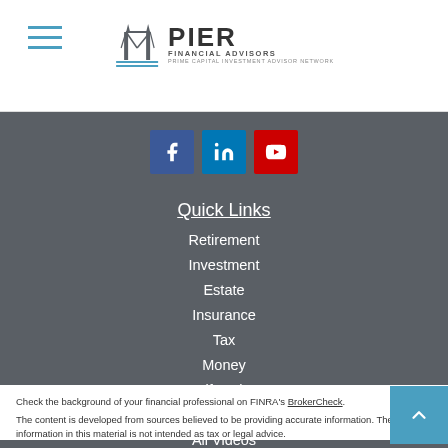PIER FINANCIAL ADVISORS — site header with hamburger menu and logo
[Figure (logo): Pier Financial Advisors logo with bridge/pier icon and text 'PIER FINANCIAL ADVISORS PRIME CAPITAL INVESTMENT ADVISOR NETWORK']
[Figure (infographic): Social media icons row: Facebook (blue), LinkedIn (light blue), YouTube (red)]
Quick Links
Retirement
Investment
Estate
Insurance
Tax
Money
Lifestyle
All Articles
All Videos
All Calculators
All Presentations
Check the background of your financial professional on FINRA's BrokerCheck.
The content is developed from sources believed to be providing accurate information. The information in this material is not intended as tax or legal advice.